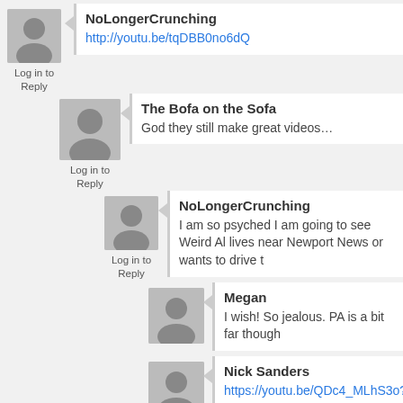NoLongerCrunching
http://youtu.be/tqDBB0no6dQ
Log in to Reply
The Bofa on the Sofa
God they still make great videos…
Log in to Reply
NoLongerCrunching
I am so psyched I am going to see Weird Al lives near Newport News or wants to drive t
Log in to Reply
Megan
I wish! So jealous. PA is a bit far though
Nick Sanders
https://youtu.be/QDc4_MLhS3o?t=57s